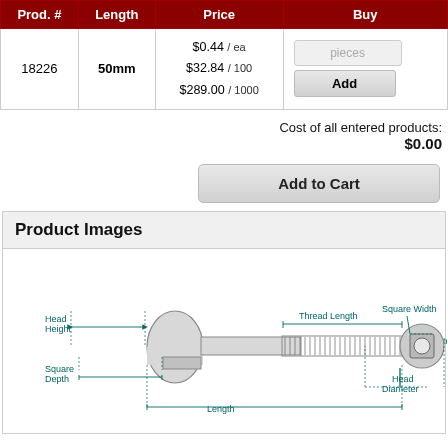| Prod. # | Length | Price | Buy |
| --- | --- | --- | --- |
| 18226 | 50mm | $0.44 / ea
$32.84 / 100
$289.00 / 1000 | pieces / Add |
Cost of all entered products: $0.00
Add to Cart
Product Images
[Figure (engineering-diagram): Carriage bolt engineering diagram showing labeled dimensions: Head Height, Thread Length, Diameter, Square Depth, Length on the left side view, and Square Width, Head Diameter on the front/end view on the right.]